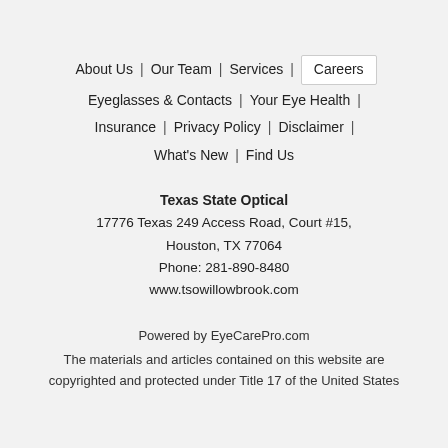About Us | Our Team | Services | Careers
Eyeglasses & Contacts | Your Eye Health |
Insurance | Privacy Policy | Disclaimer |
What's New | Find Us
Texas State Optical
17776 Texas 249 Access Road, Court #15,
Houston, TX 77064
Phone: 281-890-8480
www.tsowillowbrook.com
Powered by EyeCarePro.com
The materials and articles contained on this website are copyrighted and protected under Title 17 of the United States